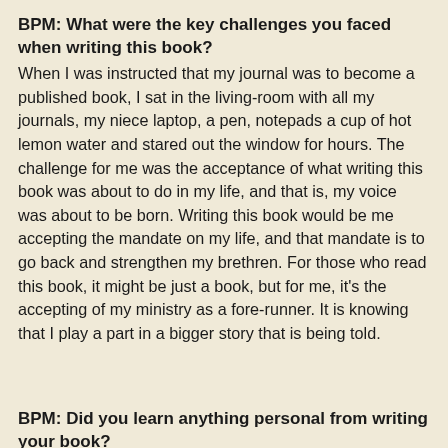BPM: What were the key challenges you faced when writing this book?
When I was instructed that my journal was to become a published book, I sat in the living-room with all my journals, my niece laptop, a pen, notepads a cup of hot lemon water and stared out the window for hours. The challenge for me was the acceptance of what writing this book was about to do in my life, and that is, my voice was about to be born. Writing this book would be me accepting the mandate on my life, and that mandate is to go back and strengthen my brethren. For those who read this book, it might be just a book, but for me, it's the accepting of my ministry as a fore-runner. It is knowing that I play a part in a bigger story that is being told.
BPM: Did you learn anything personal from writing your book?
The most personal thing that I learned from writing this book, is that when you ask God to teach you to start His work,